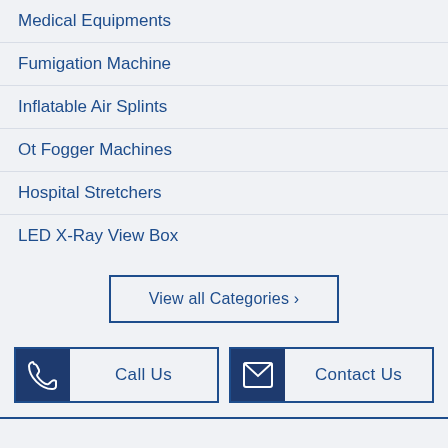Medical Equipments
Fumigation Machine
Inflatable Air Splints
Ot Fogger Machines
Hospital Stretchers
LED X-Ray View Box
View all Categories ›
Call Us
Contact Us